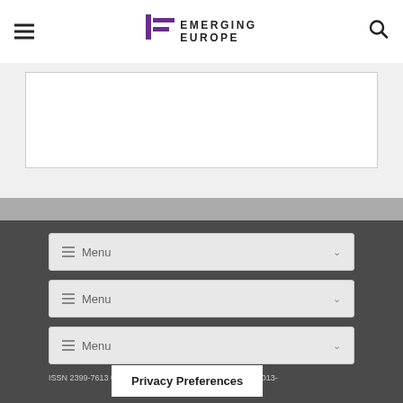Emerging Europe
[Figure (other): White content box on light gray background]
≡ Menu ▾
≡ Menu ▾
≡ Menu ▾
ISSN 2399-7613 © Emerging Europe All Rights Reserved 2013-2022
Privacy Preferences